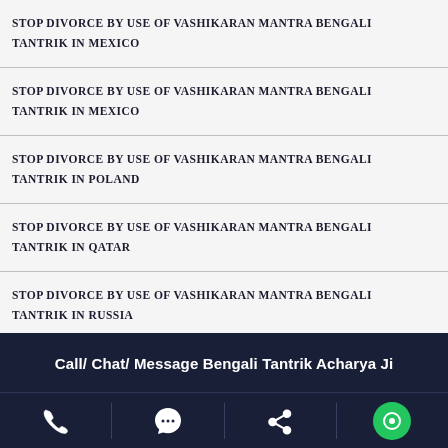STOP DIVORCE BY USE OF VASHIKARAN MANTRA BENGALI TANTRIK IN MEXICO
STOP DIVORCE BY USE OF VASHIKARAN MANTRA BENGALI TANTRIK IN MEXICO
STOP DIVORCE BY USE OF VASHIKARAN MANTRA BENGALI TANTRIK IN POLAND
STOP DIVORCE BY USE OF VASHIKARAN MANTRA BENGALI TANTRIK IN QATAR
STOP DIVORCE BY USE OF VASHIKARAN MANTRA BENGALI TANTRIK IN RUSSIA
Call/ Chat/ Message Bengali Tantrik Acharya Ji